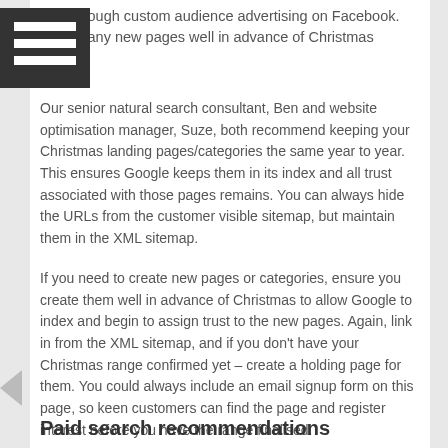also through custom audience advertising on Facebook. Create any new pages well in advance of Christmas
Our senior natural search consultant, Ben and website optimisation manager, Suze, both recommend keeping your Christmas landing pages/categories the same year to year. This ensures Google keeps them in its index and all trust associated with those pages remains. You can always hide the URLs from the customer visible sitemap, but maintain them in the XML sitemap.
If you need to create new pages or categories, ensure you create them well in advance of Christmas to allow Google to index and begin to assign trust to the new pages. Again, link in from the XML sitemap, and if you don't have your Christmas range confirmed yet – create a holding page for them. You could always include an email signup form on this page, so keen customers can find the page and register interest before you have the range finalised.
Paid search recommendations